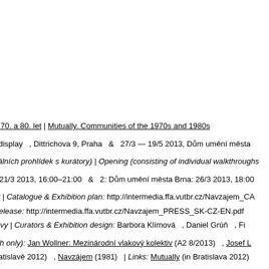nství 70. a 80. let | Mutually. Communities of the 1970s and 1980s
anzitdisplay , Dittrichova 9, Praha & 27/3 — 19/5 2013, Dům umění města
ividuálních prohlídek s kurátory) | Opening (consisting of individual walkthroughs
aha: 21/3 2013, 16:00–21:00 & 2: Dům umění města Brna: 26/3 2013, 18:00
stavy | Catalogue & Exhibition plan: http://intermedia.ffa.vutbr.cz/Navzajem_CA
ess release: http://intermedia.ffa.vutbr.cz/Navzajem_PRESS_SK-CZ-EN.pdf
výstavy | Curators & Exhibition design: Barbora Klímová , Daniel Grúň , Fi
Czech only): Jan Wollner: Mezinárodní vlakový kolektiv (A2 8/2013) , Josef L
(v Bratislavě 2012) , Navzájem (1981) | Links: Mutually (in Bratislava 2012)